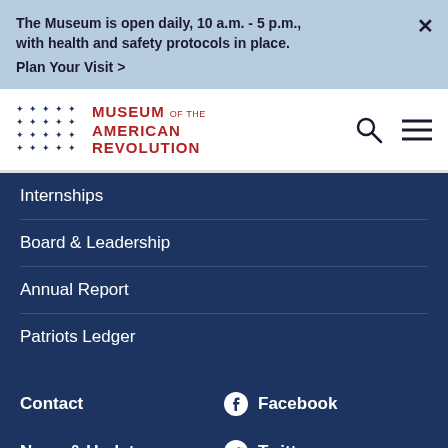The Museum is open daily, 10 a.m. - 5 p.m., with health and safety protocols in place. Plan Your Visit >
[Figure (logo): Museum of the American Revolution logo with star grid and red text]
Internships
Board & Leadership
Annual Report
Patriots Ledger
Contact
Facebook
News & Updates
Twitter
Press Room
Instagram